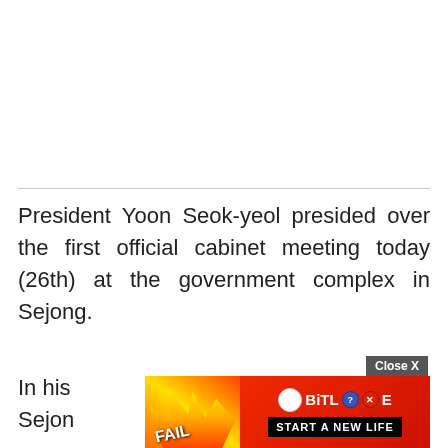President Yoon Seok-yeol presided over the first official cabinet meeting today (26th) at the government complex in Sejong.
In his ... visited Sejong ... year
[Figure (other): BitLife advertisement overlay with flame animation, cartoon character, FAIL text, and 'START A NEW LIFE' button. Includes Close X button.]